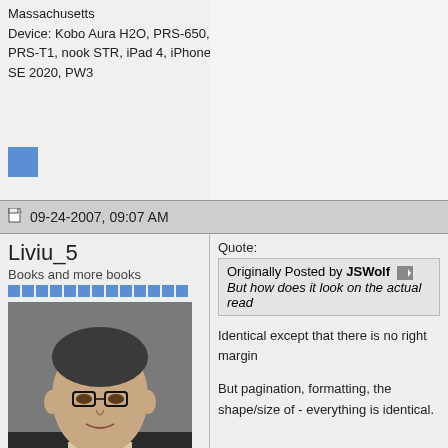Massachusetts
Device: Kobo Aura H2O, PRS-650, PRS-T1, nook STR, iPad 4, iPhone SE 2020, PW3
09-24-2007, 09:07 AM
Liviu_5
Books and more books
[Figure (photo): Avatar photo of forum user Liviu_5, a man wearing glasses and a dark suit]
Posts: 917
Karma: 69499
Join Date: Mar 2006
Location: White Plains, NY, USA
Device: Nook Color, Itouch, Nokia770, Sony 650, Sony 700(dead), Ebk(given)
Quote:
Originally Posted by JSWolf
But how does it look on the actual read
Identical except that there is no right margin
But pagination, formatting, the shape/size of - everything is identical.